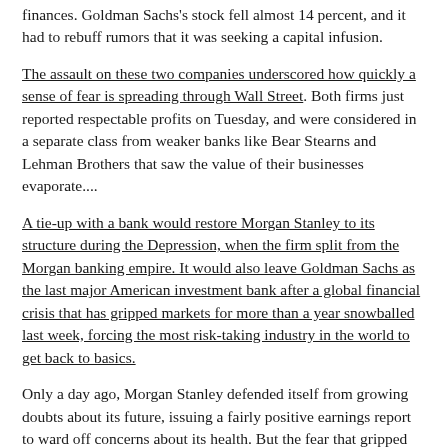finances. Goldman Sachs's stock fell almost 14 percent, and it had to rebuff rumors that it was seeking a capital infusion.
The assault on these two companies underscored how quickly a sense of fear is spreading through Wall Street. Both firms just reported respectable profits on Tuesday, and were considered in a separate class from weaker banks like Bear Stearns and Lehman Brothers that saw the value of their businesses evaporate....
A tie-up with a bank would restore Morgan Stanley to its structure during the Depression, when the firm split from the Morgan banking empire. It would also leave Goldman Sachs as the last major American investment bank after a global financial crisis that has gripped markets for more than a year snowballed last week, forcing the most risk-taking industry in the world to get back to basics.
Only a day ago, Morgan Stanley defended itself from growing doubts about its future, issuing a fairly positive earnings report to ward off concerns about its health. But the fear that gripped markets after Lehman Brothers failed also